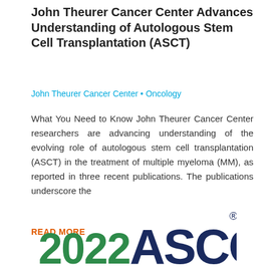John Theurer Cancer Center Advances Understanding of Autologous Stem Cell Transplantation (ASCT)
John Theurer Cancer Center • Oncology
What You Need to Know John Theurer Cancer Center researchers are advancing understanding of the evolving role of autologous stem cell transplantation (ASCT) in the treatment of multiple myeloma (MM), as reported in three recent publications. The publications underscore the
READ MORE
[Figure (logo): 2022 ASCO logo with '2022' in green and 'ASCO' in dark navy blue with a registered trademark symbol]